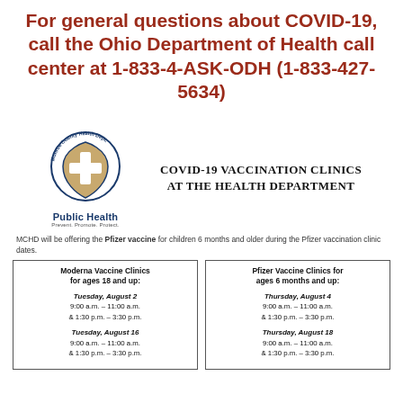For general questions about COVID-19, call the Ohio Department of Health call center at 1-833-4-ASK-ODH (1-833-427-5634)
[Figure (logo): Monroe County Health Department logo - shield with cross, Public Health text below]
COVID-19 VACCINATION CLINICS AT THE HEALTH DEPARTMENT
MCHD will be offering the Pfizer vaccine for children 6 months and older during the Pfizer vaccination clinic dates.
| Moderna Vaccine Clinics for ages 18 and up: | Pfizer Vaccine Clinics for ages 6 months and up: |
| --- | --- |
| Tuesday, August 2
9:00 a.m. – 11:00 a.m.
& 1:30 p.m. – 3:30 p.m. | Thursday, August 4
9:00 a.m. – 11:00 a.m.
& 1:30 p.m. – 3:30 p.m. |
| Tuesday, August 16
9:00 a.m. – 11:00 a.m.
& 1:30 p.m. – 3:30 p.m. | Thursday, August 18
9:00 a.m. – 11:00 a.m.
& 1:30 p.m. – 3:30 p.m. |